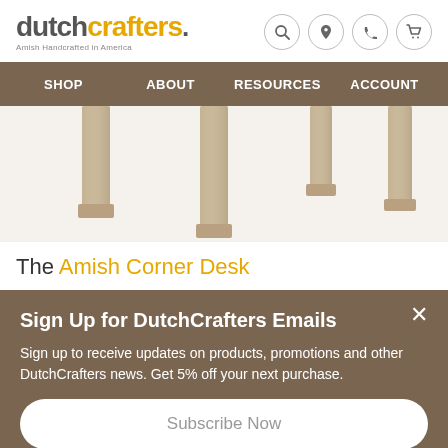dutchcrafters. Amish Handcrafted in America
[Figure (screenshot): Navigation bar with SHOP, ABOUT, RESOURCES, ACCOUNT links on brown background]
[Figure (photo): Close-up photo of wooden furniture legs (Amish Corner Desk) on white background]
The Amish Corner Desk
Sign Up for DutchCrafters Emails
Sign up to receive updates on products, promotions and other DutchCrafters news. Get 5% off your next purchase.
Subscribe Now